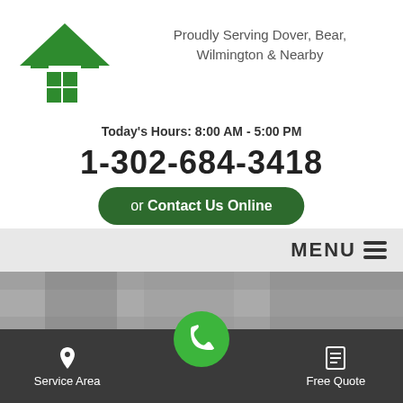[Figure (logo): Green house/roof logo with window squares]
Proudly Serving Dover, Bear, Wilmington & Nearby
Today's Hours: 8:00 AM - 5:00 PM
1-302-684-3418
or Contact Us Online
MENU ☰
PRESS RELEASES
Service Area
Free Quote